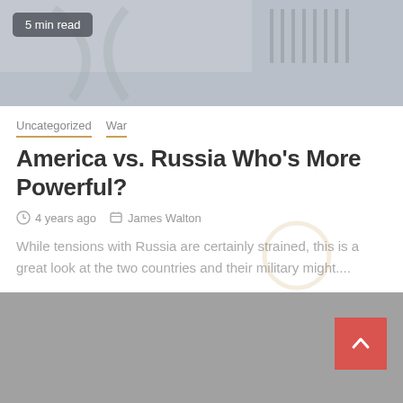[Figure (photo): Top banner image showing blurred airplane or military aircraft, gray-toned]
5 min read
Uncategorized  War
America vs. Russia Who's More Powerful?
4 years ago  James Walton
While tensions with Russia are certainly strained, this is a great look at the two countries and their military might....
[Figure (photo): Bottom gray image placeholder, partially visible, with a red scroll-to-top button]